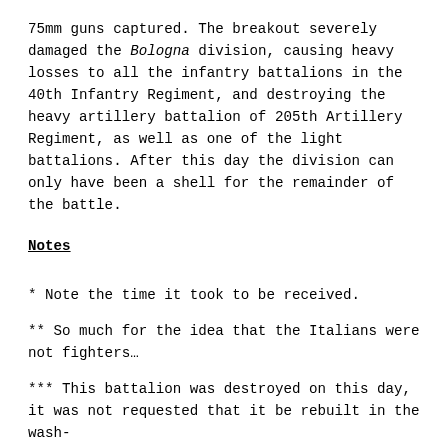75mm guns captured. The breakout severely damaged the Bologna division, causing heavy losses to all the infantry battalions in the 40th Infantry Regiment, and destroying the heavy artillery battalion of 205th Artillery Regiment, as well as one of the light battalions. After this day the division can only have been a shell for the remainder of the battle.
Notes
* Note the time it took to be received.
** So much for the idea that the Italians were not fighters…
*** This battalion was destroyed on this day, it was not requested that it be rebuilt in the wash-